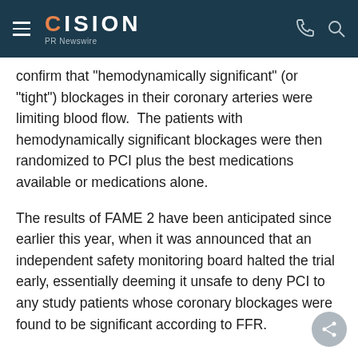CISION PR Newswire
confirm that "hemodynamically significant" (or "tight") blockages in their coronary arteries were limiting blood flow.  The patients with hemodynamically significant blockages were then randomized to PCI plus the best medications available or medications alone.
The results of FAME 2 have been anticipated since earlier this year, when it was announced that an independent safety monitoring board halted the trial early, essentially deeming it unsafe to deny PCI to any study patients whose coronary blockages were found to be significant according to FFR.